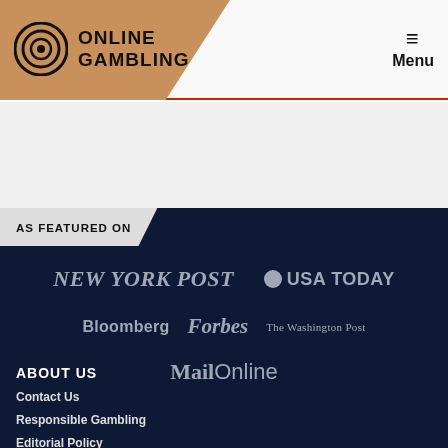Online Gambling | Menu
AS FEATURED ON
[Figure (logo): New York Post logo in italic serif font]
[Figure (logo): USA Today logo with blue circle]
[Figure (logo): Bloomberg logo]
[Figure (logo): Forbes logo in italic serif]
[Figure (logo): The Washington Post logo in serif font]
[Figure (logo): Mail Online logo with gothic Mail and sans-serif Online]
ABOUT US
Contact Us
Responsible Gambling
Editorial Policy